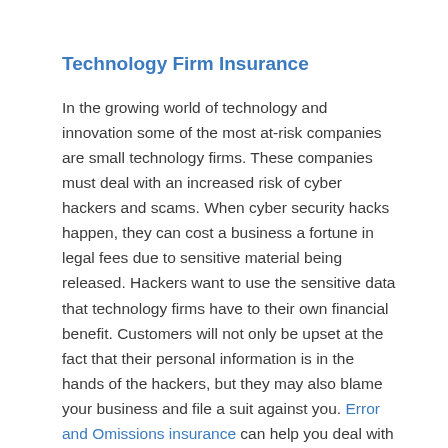Technology Firm Insurance
In the growing world of technology and innovation some of the most at-risk companies are small technology firms. These companies must deal with an increased risk of cyber hackers and scams. When cyber security hacks happen, they can cost a business a fortune in legal fees due to sensitive material being released. Hackers want to use the sensitive data that technology firms have to their own financial benefit. Customers will not only be upset at the fact that their personal information is in the hands of the hackers, but they may also blame your business and file a suit against you. Error and Omissions insurance can help you deal with the cost of legal fees